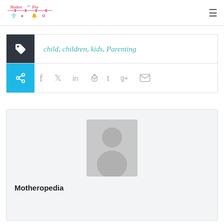MotherOPea logo + hamburger menu
child, children, kids, Parenting
Social share icons: Facebook, Twitter, LinkedIn, Reddit, Tumblr, Google+, Email
[Figure (photo): Generic user avatar placeholder image — grey silhouette of a person on grey background]
Motheropedia